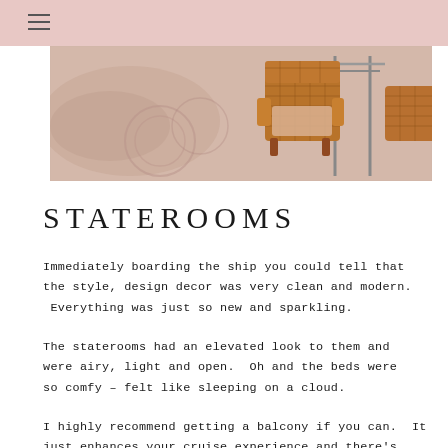≡
[Figure (photo): Outdoor seating area with wicker/rattan chairs near a pool or water feature, with pinkish-beige stone or tile flooring]
STATEROOMS
Immediately boarding the ship you could tell that the style, design decor was very clean and modern.  Everything was just so new and sparkling.
The staterooms had an elevated look to them and were airy, light and open.  Oh and the beds were so comfy – felt like sleeping on a cloud.
I highly recommend getting a balcony if you can.  It just enhances your cruise experience and there's